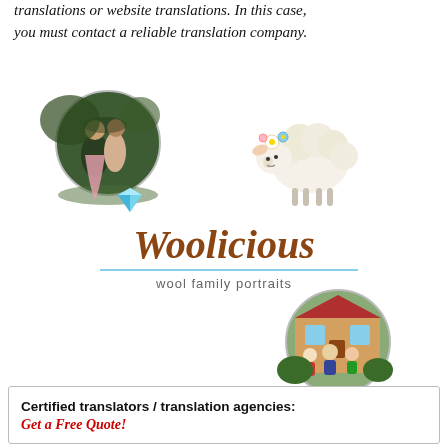translations or website translations. In this case, you must contact a reliable translation company.
[Figure (illustration): Woolicious wool family portraits logo with circular photos of couples/family and a decorative sheep illustration and gem, with a teal underline and subtitle 'wool family portraits']
Certified translators / translation agencies: Get a Free Quote!